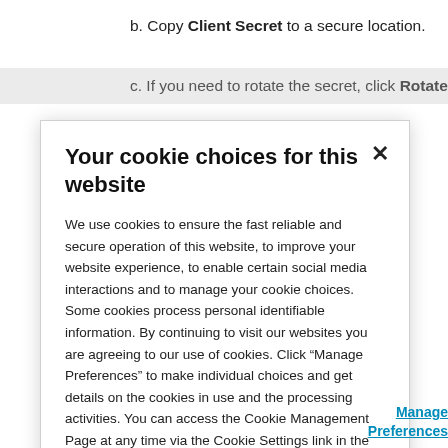b. Copy Client Secret to a secure location.
c. If you need to rotate the secret, click Rotate...
Your cookie choices for this website
We use cookies to ensure the fast reliable and secure operation of this website, to improve your website experience, to enable certain social media interactions and to manage your cookie choices. Some cookies process personal identifiable information. By continuing to visit our websites you are agreeing to our use of cookies. Click “Manage Preferences” to make individual choices and get details on the cookies in use and the processing activities. You can access the Cookie Management Page at any time via the Cookie Settings link in the footer. For additional information relating to your privacy take a look at our Privacy Statement
Manage Preferences